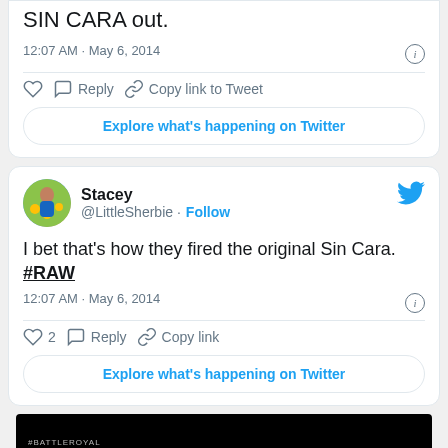SIN CARA out.
12:07 AM · May 6, 2014
Explore what's happening on Twitter
Stacey @LittleSherbie · Follow
I bet that's how they fired the original Sin Cara. #RAW
12:07 AM · May 6, 2014
2  Reply  Copy link
Explore what's happening on Twitter
[Figure (screenshot): Dark black banner at bottom showing #BATTLEROYAL text]